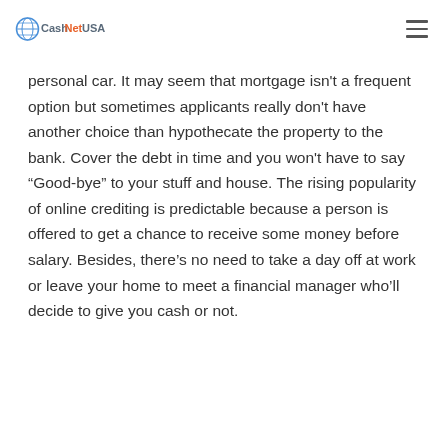CashNetUSA
personal car. It may seem that mortgage isn't a frequent option but sometimes applicants really don't have another choice than hypothecate the property to the bank. Cover the debt in time and you won't have to say “Good-bye” to your stuff and house. The rising popularity of online crediting is predictable because a person is offered to get a chance to receive some money before salary. Besides, there’s no need to take a day off at work or leave your home to meet a financial manager who’ll decide to give you cash or not.